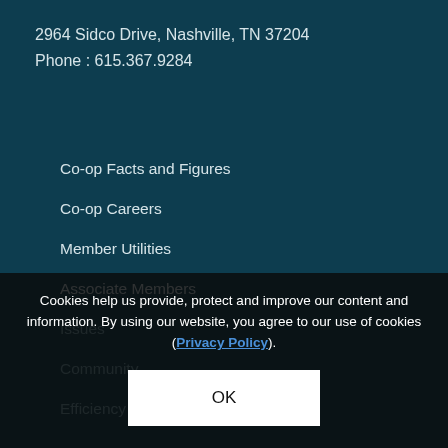2964 Sidco Drive, Nashville, TN 37204
Phone : 615.367.9284
Co-op Facts and Figures
Co-op Careers
Member Utilities
Associate Members
Issues
Community
Efficiency
Cookies help us provide, protect and improve our content and information. By using our website, you agree to our use of cookies (Privacy Policy).
OK